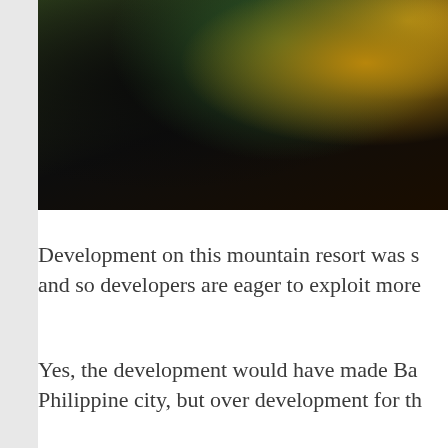[Figure (photo): Outdoor photograph of a person among lush green vegetation and trees, with dark shadowy foreground and sunlit foliage in the background. Mountain resort setting.]
Development on this mountain resort was s and so developers are eager to exploit more
Yes, the development would have made Ba Philippine city, but over development for th